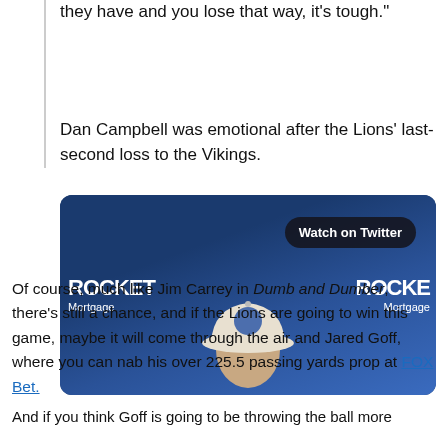they have and you lose that way, it's tough."
Dan Campbell was emotional after the Lions' last-second loss to the Vikings.
[Figure (screenshot): Video thumbnail showing a press conference with 'Watch on Twitter' button. Background shows Rocket Mortgage branding in blue. A person wearing a Detroit Lions cap is visible from behind.]
Of course, much like Jim Carrey in Dumb and Dumber, there's still a chance, and if the Lions are going to win this game, maybe it will come through the air and Jared Goff, where you can nab his over 225.5 passing yards prop at FOX Bet.
And if you think Goff is going to be throwing the ball more